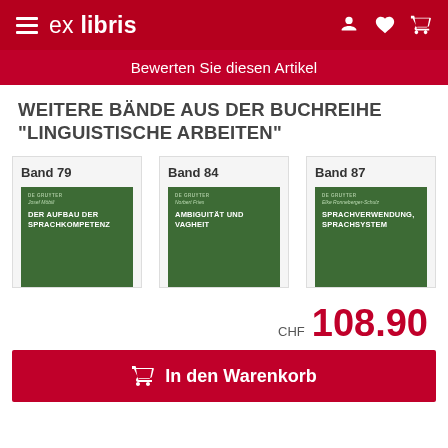ex libris
Bewerten Sie diesen Artikel
WEITERE BÄNDE AUS DER BUCHREIHE "LINGUISTISCHE ARBEITEN"
[Figure (other): Three book covers from the Linguistische Arbeiten series: Band 79 (Der Aufbau der Sprachkompetenz by Josef Möbili), Band 84 (Ambiguität und Vagheit by Norbert Fries), Band 87 (Sprachverwendung, Sprachsystem by Elke Ronneberger-Sibold). All have dark green covers with white title text and De Gruyter publisher branding.]
CHF 108.90
In den Warenkorb